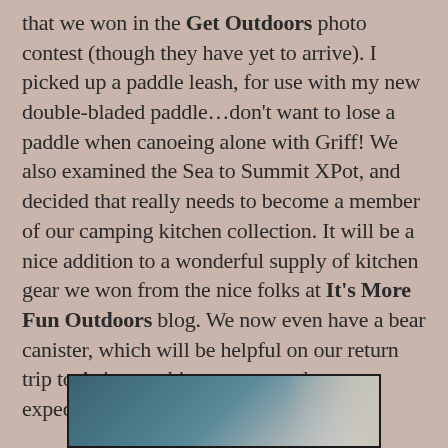that we won in the Get Outdoors photo contest (though they have yet to arrive). I picked up a paddle leash, for use with my new double-bladed paddle…don't want to lose a paddle when canoeing alone with Griff! We also examined the Sea to Summit XPot, and decided that really needs to become a member of our camping kitchen collection. It will be a nice addition to a wonderful supply of kitchen gear we won from the nice folks at It's More Fun Outdoors blog. We now even have a bear canister, which will be helpful on our return trip to Aziscoos this summer, and on our expeditions in the Adirondacks.
[Figure (photo): Partial view of a photo showing an outdoor scene, cropped at the bottom of the page]